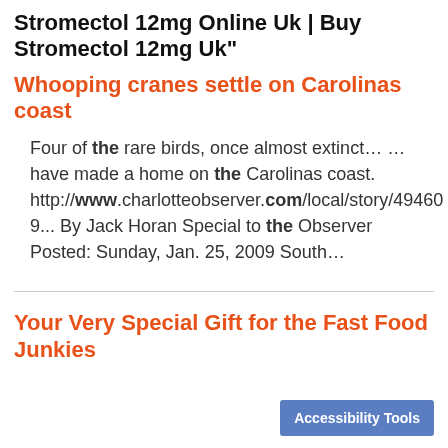Stromectol 12mg Online Uk | Buy Stromectol 12mg Uk"
Whooping cranes settle on Carolinas coast
Four of the rare birds, once almost extinct… … have made a home on the Carolinas coast. http://www.charlotteobserver.com/local/story/494609... By Jack Horan Special to the Observer Posted: Sunday, Jan. 25, 2009 South…
Your Very Special Gift for the Fast Food Junkies
Accessibility Tools